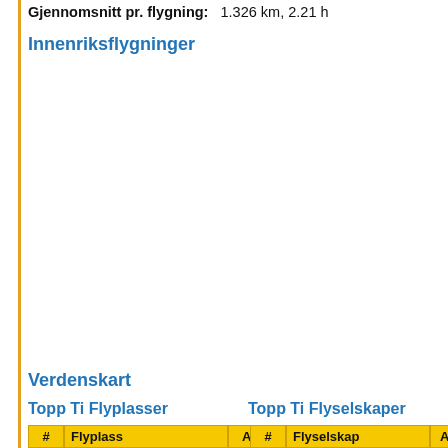Gjennomsnitt pr. flygning:    1.326 km, 2.21 h
Innenriksflygninger
Verdenskart
Topp Ti Flyplasser
| # | Flyplass | Antall | Prosent |
| --- | --- | --- | --- |
Topp Ti Flyselskaper
| # | Flyselskap | Anta |
| --- | --- | --- |